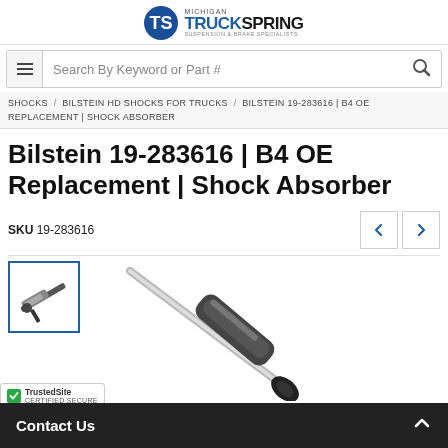Michigan TruckSpring — Suspension & Brake Specialists
Search By Keyword or Part #
SHOCKS / BILSTEIN HD SHOCKS FOR TRUCKS / BILSTEIN 19-283616 | B4 OE REPLACEMENT | SHOCK ABSORBER
Bilstein 19-283616 | B4 OE Replacement | Shock Absorber
SKU 19-283616
[Figure (photo): Bilstein 19-283616 B4 OE Replacement Shock Absorber product image — shows the shock absorber unit with thumbnail and enlarged close-up view]
TrustedSite CERTIFIED SECURE
Contact Us